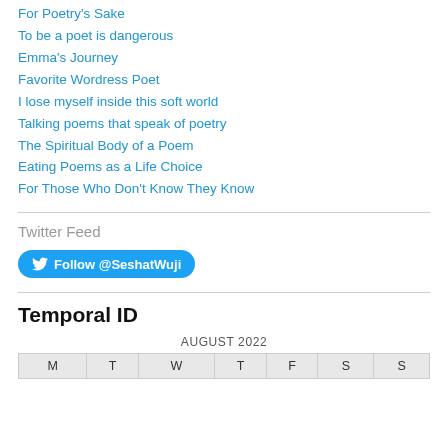For Poetry's Sake
To be a poet is dangerous
Emma's Journey
Favorite Wordress Poet
I lose myself inside this soft world
Talking poems that speak of poetry
The Spiritual Body of a Poem
Eating Poems as a Life Choice
For Those Who Don't Know They Know
Twitter Feed
Follow @SeshatWuji
Temporal ID
| M | T | W | T | F | S | S |
| --- | --- | --- | --- | --- | --- | --- |